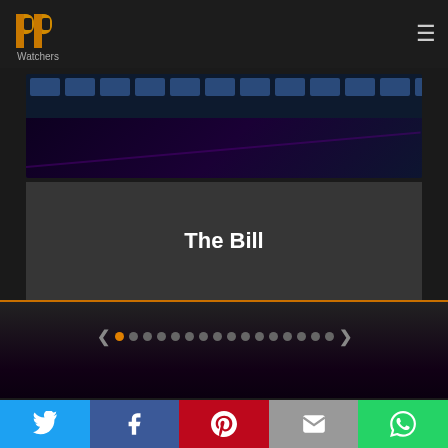[Figure (logo): PP Watchers logo with gold/orange double-P symbol and 'Watchers' text below]
[Figure (screenshot): Website screenshot showing a TV show slideshow for 'The Bill' with a film-strip style image at top, title card below, dot navigation with orange active dot, and social sharing bar at bottom with Twitter, Facebook, Pinterest, Email, and WhatsApp buttons]